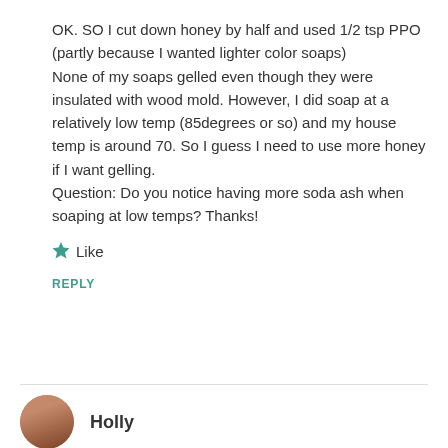OK. SO I cut down honey by half and used 1/2 tsp PPO (partly because I wanted lighter color soaps)
None of my soaps gelled even though they were insulated with wood mold. However, I did soap at a relatively low temp (85degrees or so) and my house temp is around 70. So I guess I need to use more honey if I want gelling.
Question: Do you notice having more soda ash when soaping at low temps? Thanks!
Like
REPLY
Holly